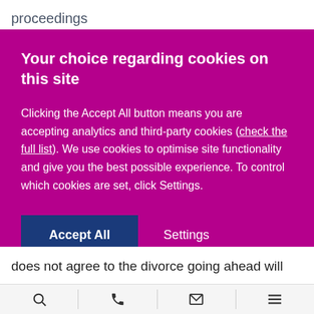proceedings
Your choice regarding cookies on this site
Clicking the Accept All button means you are accepting analytics and third-party cookies (check the full list). We use cookies to optimise site functionality and give you the best possible experience. To control which cookies are set, click Settings.
Accept All
Settings
does not agree to the divorce going ahead will
Search | Phone | Email | Menu